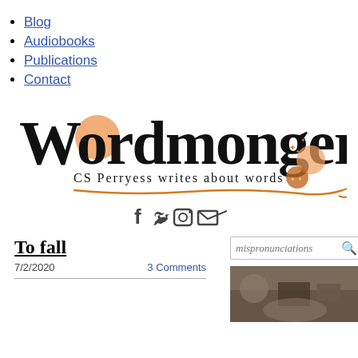Blog
Audiobooks
Publications
Contact
[Figure (logo): Wordmonger logo with text 'CS Perryess writes about words' and decorative swirl underline]
[Figure (infographic): Social media icons: Facebook, Twitter, Instagram, Email]
To fall
7/2/2020
3 Comments
[Figure (photo): Photo of a person at a desk with tablet/books]